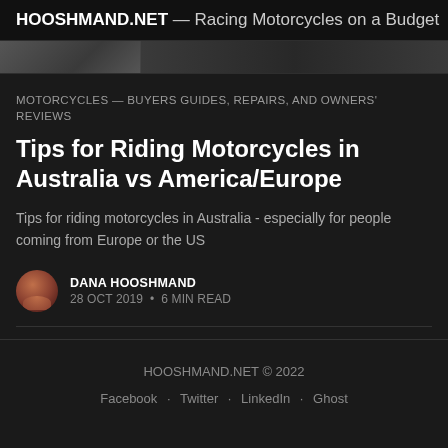HOOSHMAND.NET – Racing Motorcycles on a Budget
[Figure (photo): Partial hero image strip showing a dark outdoor motorcycle scene]
MOTORCYCLES — BUYERS GUIDES, REPAIRS, AND OWNERS' REVIEWS
Tips for Riding Motorcycles in Australia vs America/Europe
Tips for riding motorcycles in Australia - especially for people coming from Europe or the US
DANA HOOSHMAND
28 OCT 2019 · 6 MIN READ
HOOSHMAND.NET © 2022 Facebook · Twitter · LinkedIn · Ghost